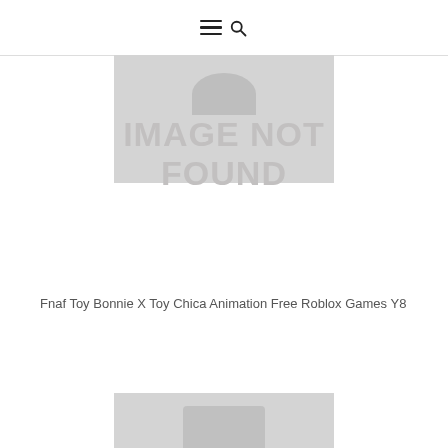navigation icons: hamburger menu and search
[Figure (other): Image not found placeholder with grey background, circle icon, and bold text 'IMAGE NOT FOUND']
Fnaf Toy Bonnie X Toy Chica Animation Free Roblox Games Y8
[Figure (other): Partial image not found placeholder visible at bottom of page]